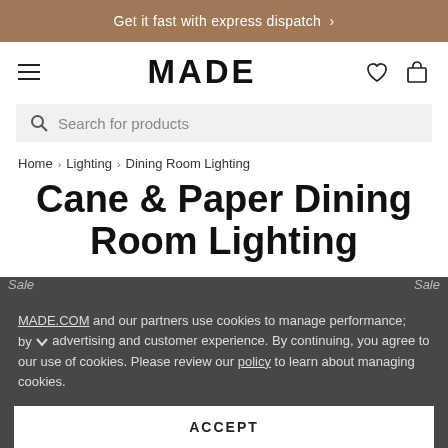Get it fast with express dispatch >
MADE
Search for products
Home > Lighting > Dining Room Lighting
Cane & Paper Dining Room Lighting
MADE.COM and our partners use cookies to manage performance, by advertising and customer experience. By continuing, you agree to our use of cookies. Please review our policy to learn about managing cookies.
ACCEPT